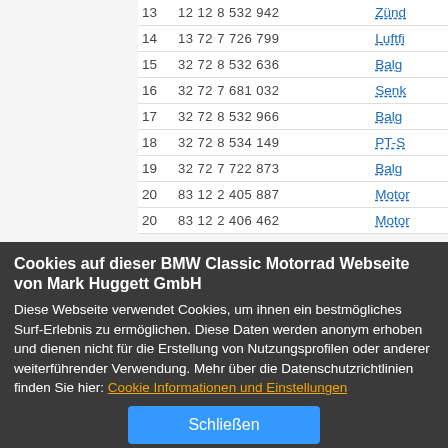| # | Part Number | Description |
| --- | --- | --- |
| 13 | 12 12 8 532 942 | Zünd... |
| 14 | 13 72 7 726 799 | Luftfi... |
| 15 | 32 72 8 532 636 | Balg ... |
| 16 | 32 72 7 681 032 | Senk... |
| 17 | 32 72 8 532 966 | Balg ... |
| 18 | 32 72 8 534 149 | PT-S... |
| 19 | 32 72 7 722 873 | Balg ... |
| 20 | 83 12 2 405 887 | Motor... |
| 20 | 83 12 2 406 462 | Motor... |
Cookies auf dieser BMW Classic Motorrad Webseite von Mark Huggett GmbH
Diese Webseite verwendet Cookies, um ihnen ein bestmögliches Surf-Erlebnis zu ermöglichen. Diese Daten werden anonym erhoben und dienen nicht für die Erstellung von Nutzungsprofilen oder anderer weiterführender Verwendung. Mehr über die Datenschutzrichtlinien finden Sie hier: Cookie Informationen und Einstellungen